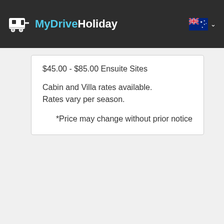MyDriveHoliday
$45.00 - $85.00 Ensuite Sites
Cabin and Villa rates available.
Rates vary per season.
*Price may change without prior notice